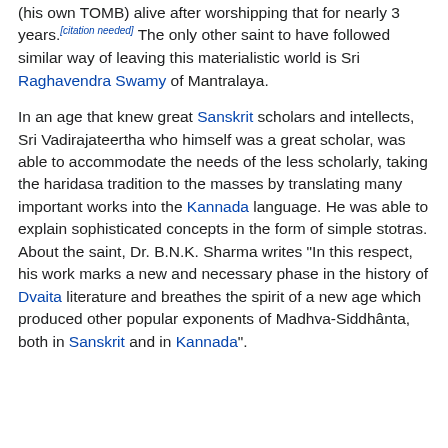(his own TOMB) alive after worshipping that for nearly 3 years.[citation needed] The only other saint to have followed similar way of leaving this materialistic world is Sri Raghavendra Swamy of Mantralaya.
In an age that knew great Sanskrit scholars and intellects, Sri Vadirajateertha who himself was a great scholar, was able to accommodate the needs of the less scholarly, taking the haridasa tradition to the masses by translating many important works into the Kannada language. He was able to explain sophisticated concepts in the form of simple stotras. About the saint, Dr. B.N.K. Sharma writes "In this respect, his work marks a new and necessary phase in the history of Dvaita literature and breathes the spirit of a new age which produced other popular exponents of Madhva-Siddhânta, both in Sanskrit and in Kannada".